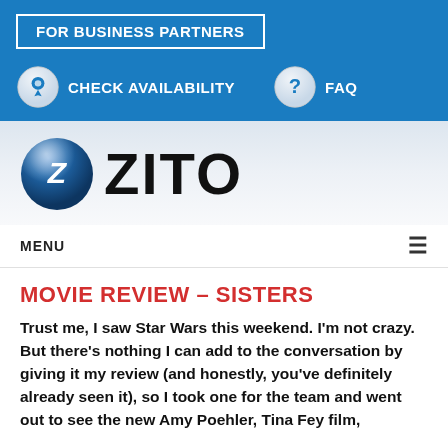FOR BUSINESS PARTNERS
[Figure (screenshot): Navigation icons: location pin icon with CHECK AVAILABILITY label, question mark icon with FAQ label, on blue background]
[Figure (logo): Zito logo: blue sphere with white Z and ZITO text in black]
MENU
MOVIE REVIEW – SISTERS
Trust me, I saw Star Wars this weekend. I'm not crazy. But there's nothing I can add to the conversation by giving it my review (and honestly, you've definitely already seen it), so I took one for the team and went out to see the new Amy Poehler, Tina Fey film,